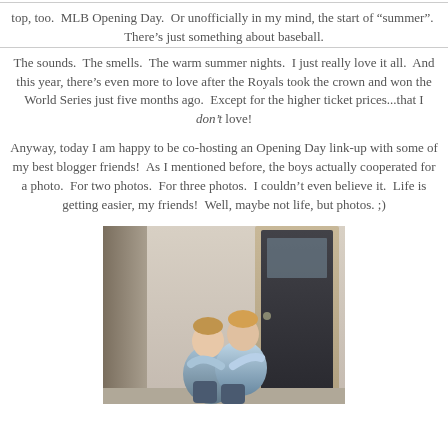top, too.  MLB Opening Day.  Or unofficially in my mind, the start of "summer".  There's just something about baseball.
The sounds.  The smells.  The warm summer nights.  I just really love it all.  And this year, there's even more to love after the Royals took the crown and won the World Series just five months ago.  Except for the higher ticket prices...that I don't love!
Anyway, today I am happy to be co-hosting an Opening Day link-up with some of my best blogger friends!  As I mentioned before, the boys actually cooperated for a photo.  For two photos.  For three photos.  I couldn't even believe it.  Life is getting easier, my friends!  Well, maybe not life, but photos. ;)
[Figure (photo): Two young boys sitting together on front porch steps, hugging each other, in front of a dark door, wearing light blue and grey shirts and jeans.]